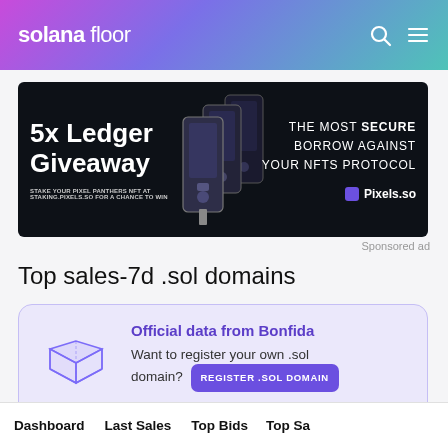solana floor
[Figure (photo): Advertisement banner for Pixels.so: '5x Ledger Giveaway — THE MOST SECURE BORROW AGAINST YOUR NFTS PROTOCOL. STAKE YOUR PIXEL PANTHERS NFT AT STAKING.PIXELS.SO FOR A CHANCE TO WIN. Pixels.so']
Sponsored ad
Top sales-7d .sol domains
Official data from Bonfida — Want to register your own .sol domain? REGISTER .SOL DOMAIN
Dashboard  Last Sales  Top Bids  Top Sales